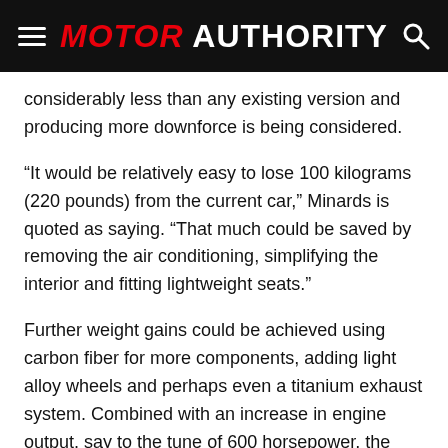MOTOR AUTHORITY
considerably less than any existing version and producing more downforce is being considered.
“It would be relatively easy to lose 100 kilograms (220 pounds) from the current car,” Minards is quoted as saying. “That much could be saved by removing the air conditioning, simplifying the interior and fitting lightweight seats.”
Further weight gains could be achieved using carbon fiber for more components, adding light alloy wheels and perhaps even a titanium exhaust system. Combined with an increase in engine output, say to the tune of 600 horsepower, the hardcore V12 Vantage GT3 could rival Ferrari’s 458 Italia in terms of power-to-weight ratio.